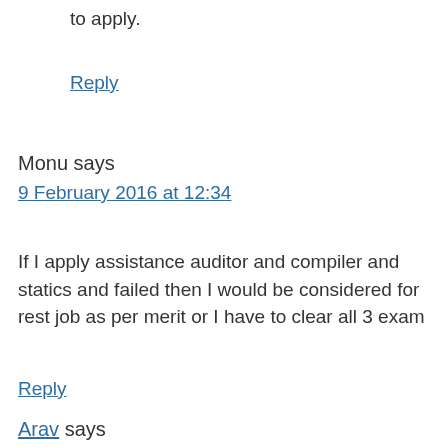to apply.
Reply
Monu says
9 February 2016 at 12:34
If I apply assistance auditor and compiler and statics and failed then I would be considered for rest job as per merit or I have to clear all 3 exam
Reply
Arav says